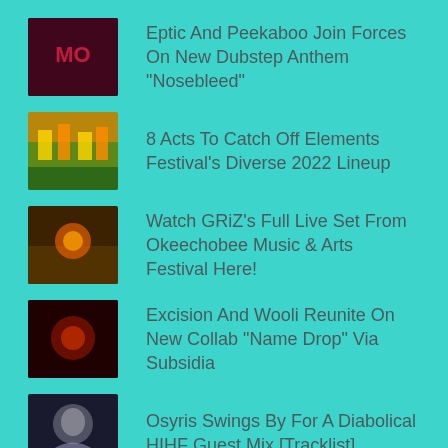Eptic And Peekaboo Join Forces On New Dubstep Anthem "Nosebleed"
8 Acts To Catch Off Elements Festival's Diverse 2022 Lineup
Watch GRiZ's Full Live Set From Okeechobee Music & Arts Festival Here!
Excision And Wooli Reunite On New Collab "Name Drop" Via Subsidia
Osyris Swings By For A Diabolical HIHF Guest Mix [Tracklist]